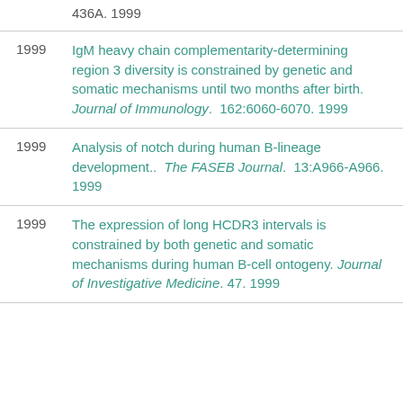436A. 1999
IgM heavy chain complementarity-determining region 3 diversity is constrained by genetic and somatic mechanisms until two months after birth. Journal of Immunology. 162:6060-6070. 1999
Analysis of notch during human B-lineage development.. The FASEB Journal. 13:A966-A966. 1999
The expression of long HCDR3 intervals is constrained by both genetic and somatic mechanisms during human B-cell ontogeny. Journal of Investigative Medicine. 47. 1999